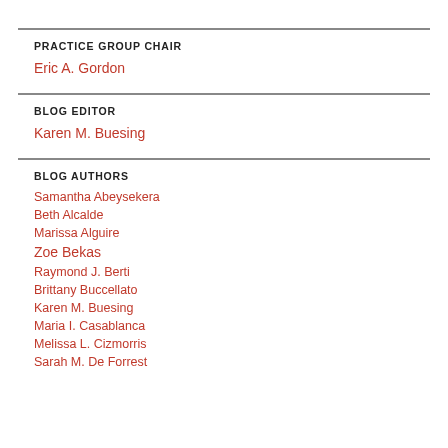PRACTICE GROUP CHAIR
Eric A. Gordon
BLOG EDITOR
Karen M. Buesing
BLOG AUTHORS
Samantha Abeysekera
Beth Alcalde
Marissa Alguire
Zoe Bekas
Raymond J. Berti
Brittany Buccellato
Karen M. Buesing
Maria I. Casablanca
Melissa L. Cizmorris
Sarah M. De Forrest